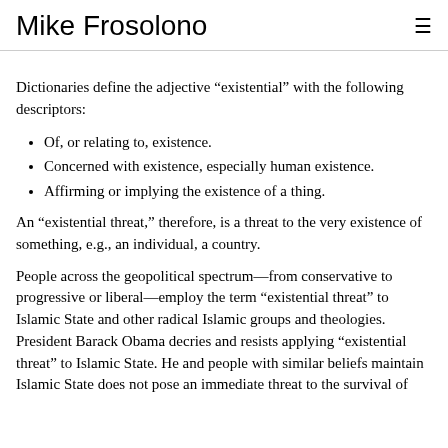Mike Frosolono
Dictionaries define the adjective “existential” with the following descriptors:
Of, or relating to, existence.
Concerned with existence, especially human existence.
Affirming or implying the existence of a thing.
An “existential threat,” therefore, is a threat to the very existence of something, e.g., an individual, a country.
People across the geopolitical spectrum—from conservative to progressive or liberal—employ the term “existential threat” to Islamic State and other radical Islamic groups and theologies. President Barack Obama decries and resists applying “existential threat” to Islamic State. He and people with similar beliefs maintain Islamic State does not pose an immediate threat to the survival of